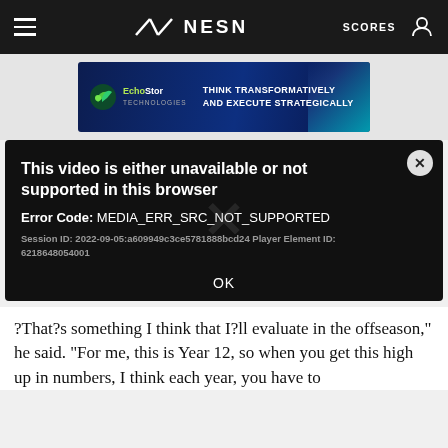NESN — SCORES
[Figure (screenshot): EchoStor Technologies advertisement banner: 'THINK TRANSFORMATIVELY AND EXECUTE STRATEGICALLY']
[Figure (screenshot): Video player error dialog on dark background. Title: 'This video is either unavailable or not supported in this browser'. Error Code: MEDIA_ERR_SRC_NOT_SUPPORTED. Session ID: 2022-09-05:a609949c3ce5781888bcd24 Player Element ID: 6218648054001. OK button. Close (X) button in top right.]
?That?s something I think that I?ll evaluate in the offseason," he said. "For me, this is Year 12, so when you get this high up in numbers, I think each year, you have to